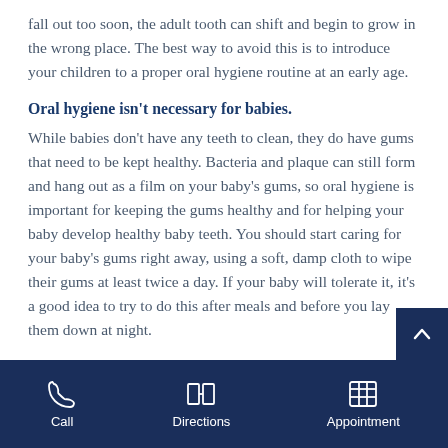fall out too soon, the adult tooth can shift and begin to grow in the wrong place. The best way to avoid this is to introduce your children to a proper oral hygiene routine at an early age.
Oral hygiene isn't necessary for babies.
While babies don't have any teeth to clean, they do have gums that need to be kept healthy. Bacteria and plaque can still form and hang out as a film on your baby's gums, so oral hygiene is important for keeping the gums healthy and for helping your baby develop healthy baby teeth. You should start caring for your baby's gums right away, using a soft, damp cloth to wipe their gums at least twice a day. If your baby will tolerate it, it's a good idea to try to do this after meals and before you lay them down at night.
Call   Directions   Appointment